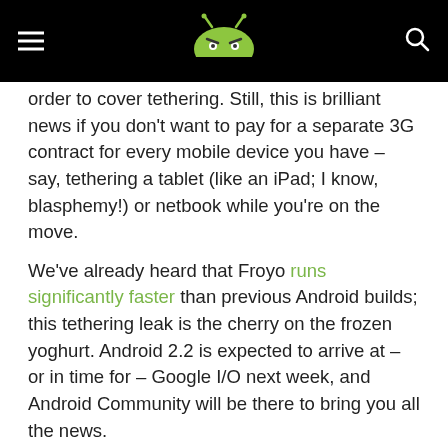Android Community header with logo, menu, and search
order to cover tethering.  Still, this is brilliant news if you don't want to pay for a separate 3G contract for every mobile device you have – say, tethering a tablet (like an iPad; I know, blasphemy!) or netbook while you're on the move.
We've already heard that Froyo runs significantly faster than previous Android builds; this tethering leak is the cherry on the frozen yoghurt.  Android 2.2 is expected to arrive at – or in time for – Google I/O next week, and Android Community will be there to bring you all the news.
From the Web
Powered by ZergNet
[Figure (photo): Black and white photo of a person's head/hair]
[Figure (logo): PlayStation VR2 logo]